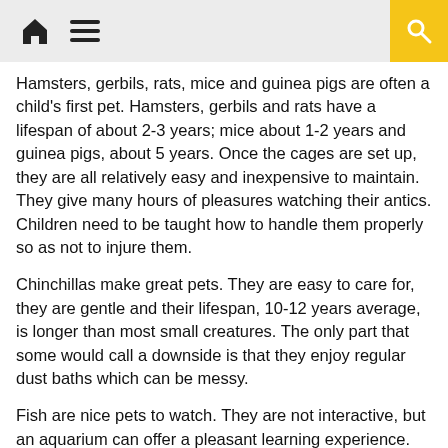[Home icon] [Menu icon] [Search icon]
Hamsters, gerbils, rats, mice and guinea pigs are often a child's first pet. Hamsters, gerbils and rats have a lifespan of about 2-3 years; mice about 1-2 years and guinea pigs, about 5 years. Once the cages are set up, they are all relatively easy and inexpensive to maintain. They give many hours of pleasures watching their antics. Children need to be taught how to handle them properly so as not to injure them.
Chinchillas make great pets. They are easy to care for, they are gentle and their lifespan, 10-12 years average, is longer than most small creatures. The only part that some would call a downside is that they enjoy regular dust baths which can be messy.
Fish are nice pets to watch. They are not interactive, but an aquarium can offer a pleasant learning experience. Parents do have to chip in with the work of maintaining the